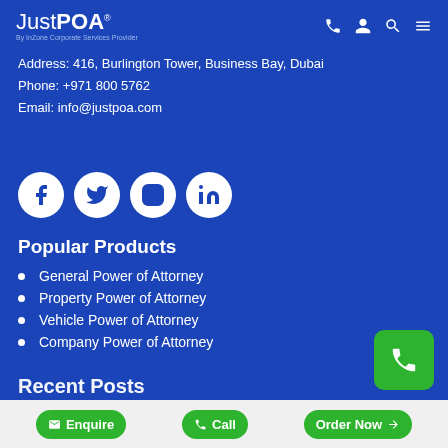JustPOA® By InZone Corporate Services Provider
Address: 416, Burlington Tower, Business Bay, Dubai
Phone: +971 800 5762
Email: info@justpoa.com
[Figure (infographic): Four white social media icon circles: Facebook, Twitter, Instagram, LinkedIn on blue background]
Popular Products
General Power of Attorney
Property Power of Attorney
Vehicle Power of Attorney
Company Power of Attorney
Recent Posts
Enquire  Call  Order Now